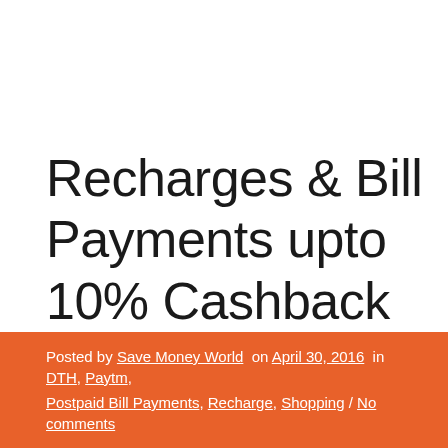Recharges & Bill Payments upto 10% Cashback – PayTm { Latest Update }
Posted by Save Money World on April 30, 2016 in DTH, Paytm, Postpaid Bill Payments, Recharge, Shopping / No comments